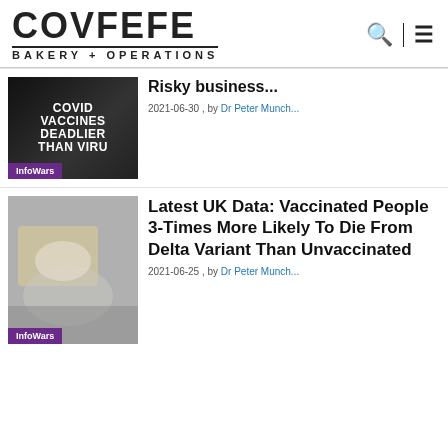COVFEFE BAKERY + OPERATIONS
[Figure (photo): Thumbnail image with text overlay reading: COVID VACCINES DEADLIER THAN VIRU[S], with an InfoWars badge]
Risky business...
2021-06-30 , by Dr Peter Munch...
[Figure (photo): Thumbnail photo of a person in protective medical gear handling a body bag on a gurney, with an InfoWars badge]
Latest UK Data: Vaccinated People 3-Times More Likely To Die From Delta Variant Than Unvaccinated
2021-06-25 , by Dr Peter Munch...